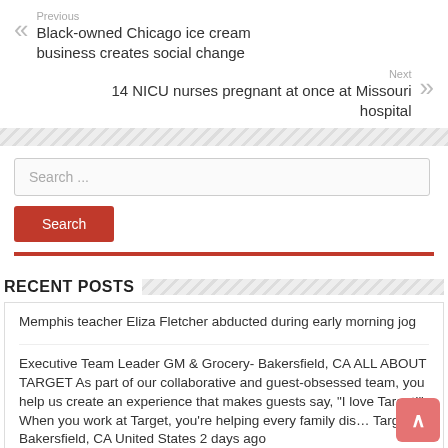Previous
Black-owned Chicago ice cream business creates social change
Next
14 NICU nurses pregnant at once at Missouri hospital
Search ...
Search
RECENT POSTS
Memphis teacher Eliza Fletcher abducted during early morning jog
Executive Team Leader GM & Grocery- Bakersfield, CA ALL ABOUT TARGET As part of our collaborative and guest-obsessed team, you help us create an experience that makes guests say, "I love Target!" When you work at Target, you're helping every family dis… Target Bakersfield, CA United States 2 days ago